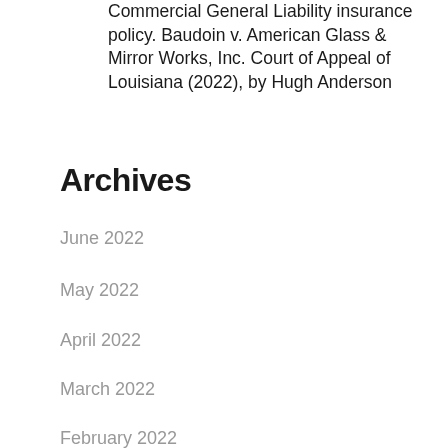Commercial General Liability insurance policy. Baudoin v. American Glass & Mirror Works, Inc. Court of Appeal of Louisiana (2022), by Hugh Anderson
Archives
June 2022
May 2022
April 2022
March 2022
February 2022
January 2022